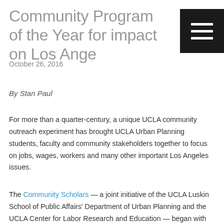Community Program of the Year for impact on Los Ange…
October 26, 2016
By Stan Paul
For more than a quarter-century, a unique UCLA community outreach experiment has brought UCLA Urban Planning students, faculty and community stakeholders together to focus on jobs, wages, workers and many other important Los Angeles issues.
The Community Scholars — a joint initiative of the UCLA Luskin School of Public Affairs' Department of Urban Planning and the UCLA Center for Labor Research and Education — began with the first evening class in 1991.
“The very first class was a totally an experiment,” said UCLA Urban Planning instructor Gilda Haas. Haas and